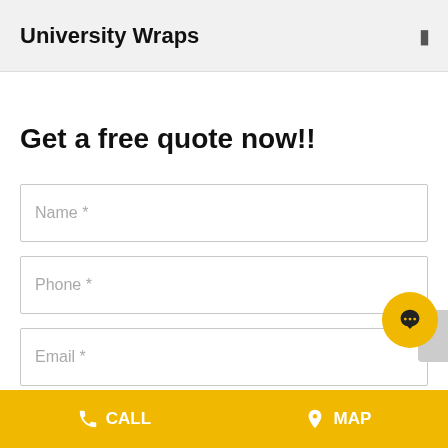University Wraps
Get a free quote now!!
Name *
Phone *
Email *
CALL   MAP